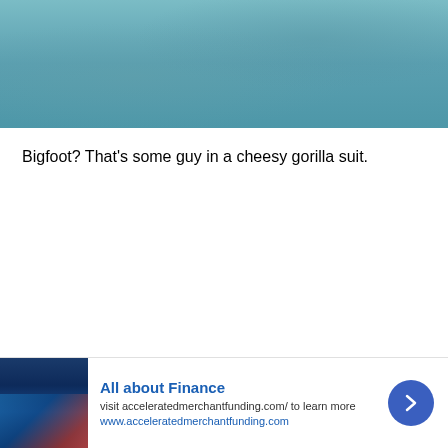[Figure (photo): Blurry teal/blue-green textured background image, appears to be top portion of an outdoor photo]
Bigfoot? That’s some guy in a cheesy gorilla suit.
[Figure (screenshot): Video player interface showing 'Real Bigfoot Sighting' with circular thumbnail of dark outdoor scene, three-dot menu icon, on black background]
[Figure (other): Advertisement banner: 'All about Finance' - visit acceleratedmerchantfunding.com/ to learn more, www.acceleratedmerchantfunding.com, with stock chart image and blue arrow button]